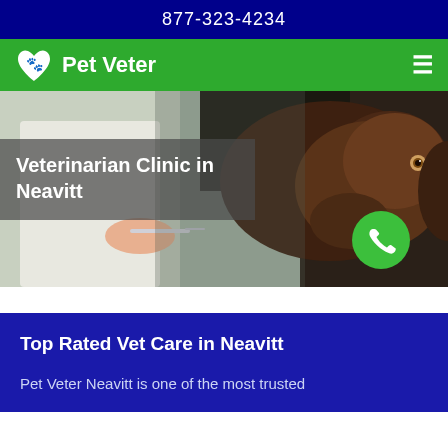877-323-4234
Pet Veter
[Figure (photo): Veterinarian in white coat examining or treating a chocolate Labrador dog, with a syringe visible]
Veterinarian Clinic in Neavitt
Top Rated Vet Care in Neavitt
Pet Veter Neavitt is one of the most trusted